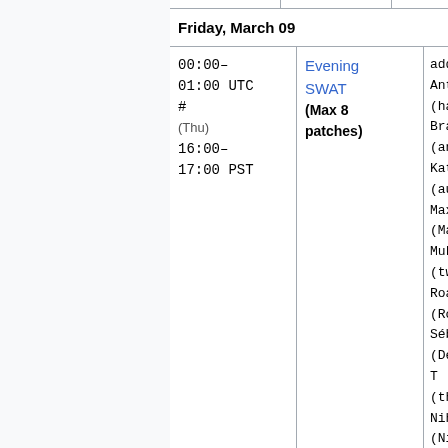| Time | Event | People |
| --- | --- | --- |
| Friday, March 09 |  |  |
| 00:00–01:00 UTC #
(Thu)
16:00–17:00 PST | Evening SWAT
(Max 8 patches) | addshore, Ant
(hashar), Brad
(anomie), Katie
(aude), Max
(MaxSem), Muk
(twentyafter
Roan
(RoanKattouw
Sébastien
(Dereckson), T
(thcipriani)
Niharika (Niha
or Željko (zelj |
Upcoming
nothing interesting yet?